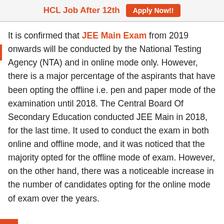HCL Job After 12th  Apply Now!!
It is confirmed that JEE Main Exam from 2019 onwards will be conducted by the National Testing Agency (NTA) and in online mode only. However, there is a major percentage of the aspirants that have been opting the offline i.e. pen and paper mode of the examination until 2018. The Central Board Of Secondary Education conducted JEE Main in 2018, for the last time. It used to conduct the exam in both online and offline mode, and it was noticed that the majority opted for the offline mode of exam. However, on the other hand, there was a noticeable increase in the number of candidates opting for the online mode of exam over the years.